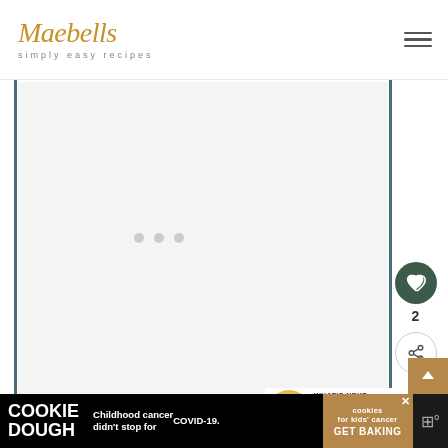Maebells — simply easy recipes
[Figure (screenshot): Loading/placeholder content area with three gray dots indicating loading state, bordered by dark teal vertical lines on left and right sides]
[Figure (infographic): Heart/like button (dark green circle with heart icon) showing count of 2, and share button (white circle with share icon), with a vertical teal line connecting them]
[Figure (infographic): What's Next panel showing a circular thumbnail of a mango drink and text 'Mango Moscato...' with label 'WHAT'S NEXT →']
[Figure (infographic): Advertisement banner at bottom: COOKIE DOUGH text on black left, 'Childhood cancer didn't stop for COVID-19.' in white on black center, cookies for kids cancer logo in tan/gold right, with GET BAKING button, and a close X button]
COOKIE DOUGH — Childhood cancer didn't stop for COVID-19. — cookies for kids' cancer — GET BAKING